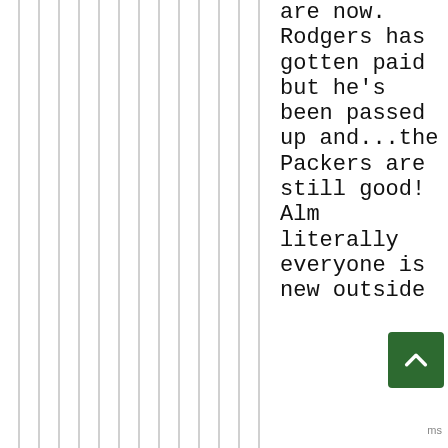are now. Rodgers has gotten paid but he's been passed up and...the Packers are still good! Alm literally everyone is new outside